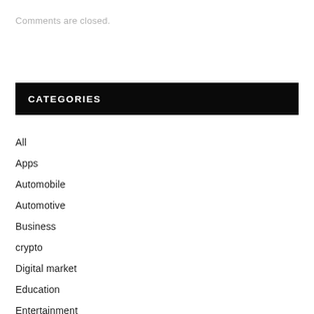Comments are closed.
CATEGORIES
All
Apps
Automobile
Automotive
Business
crypto
Digital market
Education
Entertainment